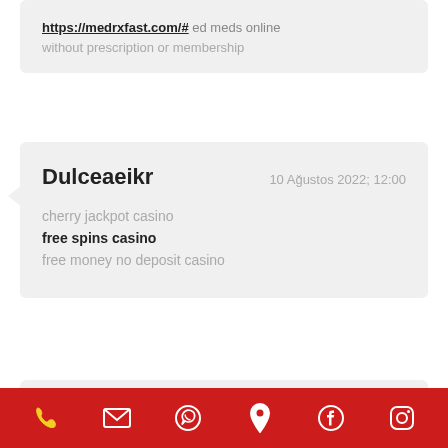https://medrxfast.com/# ed meds online without prescription or membership
Dulceaeikr  10 Ağustos 2022; 12:00
cherry jackpot casino
free spins casino
free money no deposit casino
Phone | Email | WhatsApp | Location | Facebook | Instagram